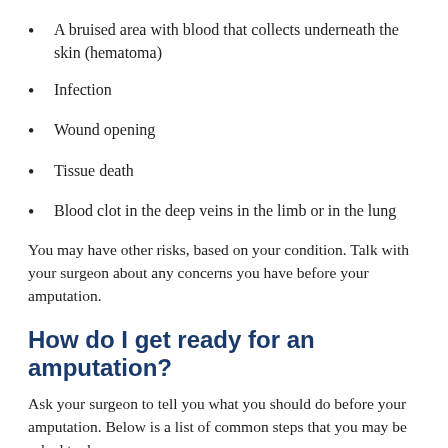A bruised area with blood that collects underneath the skin (hematoma)
Infection
Wound opening
Tissue death
Blood clot in the deep veins in the limb or in the lung
You may have other risks, based on your condition. Talk with your surgeon about any concerns you have before your amputation.
How do I get ready for an amputation?
Ask your surgeon to tell you what you should do before your amputation. Below is a list of common steps that you may be asked to do: